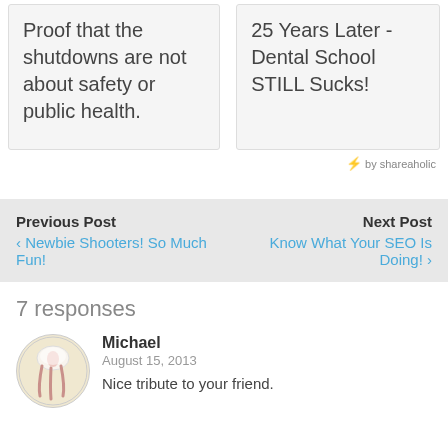Proof that the shutdowns are not about safety or public health.
25 Years Later - Dental School STILL Sucks!
⚡ by shareaholic
Previous Post
‹ Newbie Shooters! So Much Fun!
Next Post
Know What Your SEO Is Doing! ›
7 responses
Michael
August 15, 2013
Nice tribute to your friend.